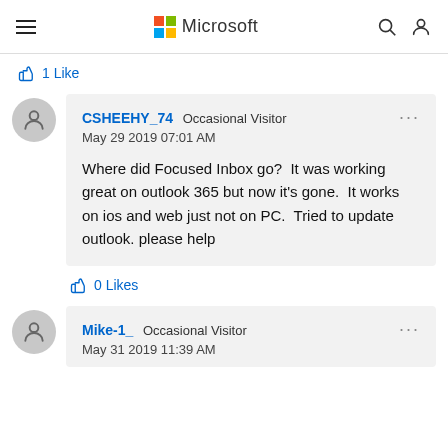Microsoft (navigation header with hamburger menu, Microsoft logo, search and user icons)
1 Like
CSHEEHY_74 Occasional Visitor
May 29 2019 07:01 AM

Where did Focused Inbox go?  It was working great on outlook 365 but now it's gone.  It works on ios and web just not on PC.  Tried to update outlook. please help
0 Likes
Mike-1_ Occasional Visitor
May 31 2019 11:39 AM